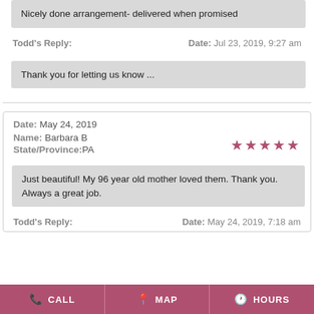Nicely done arrangement- delivered when promised
Todd's Reply:   Date: Jul 23, 2019, 9:27 am
Thank you for letting us know ...
Date: May 24, 2019
Name: Barbara B
State/Province: PA
Just beautiful! My 96 year old mother loved them. Thank you. Always a great job.
Todd's Reply:   Date: May 24, 2019, 7:18 am
CALL   MAP   HOURS